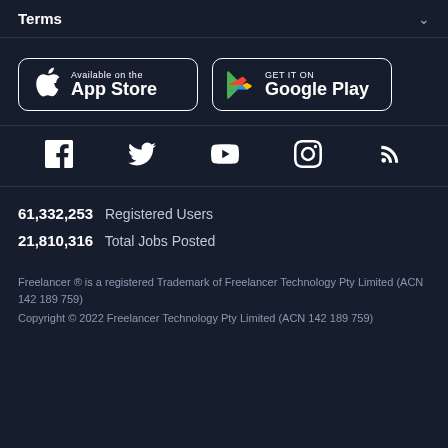Terms
[Figure (logo): App Store and Google Play store badge buttons]
[Figure (infographic): Social media icons: Facebook, Twitter, YouTube, Instagram, RSS]
61,332,253  Registered Users
21,810,316  Total Jobs Posted
Freelancer ® is a registered Trademark of Freelancer Technology Pty Limited (ACN 142 189 759)
Copyright © 2022 Freelancer Technology Pty Limited (ACN 142 189 759)